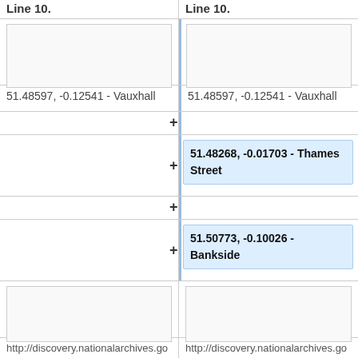Line 10.
Line 10.
51.48597, -0.12541 - Vauxhall
51.48597, -0.12541 - Vauxhall
51.48268, -0.01703 - Thames Street
51.50773, -0.10026 - Bankside
http://discovery.nationalarchives.gov.uk/details/rd/c884d77b-6c01-4c1b-98d1-92ffb0120e5d
http://discovery.nationalarchives.gov.uk/details/rd/c884d77b-6c01-4c1b-98d1-92ffb0120e5d